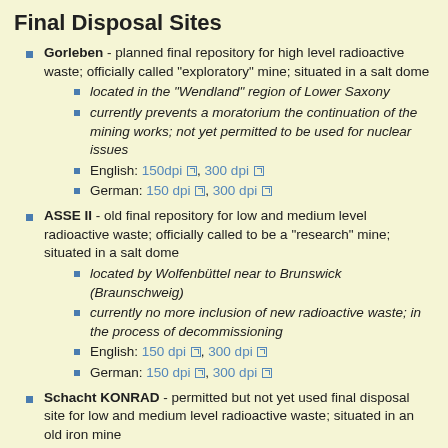Final Disposal Sites
Gorleben - planned final repository for high level radioactive waste; officially called "exploratory" mine; situated in a salt dome
located in the "Wendland" region of Lower Saxony
currently prevents a moratorium the continuation of the mining works; not yet permitted to be used for nuclear issues
English: 150dpi, 300 dpi
German: 150 dpi, 300 dpi
ASSE II - old final repository for low and medium level radioactive waste; officially called to be a "research" mine; situated in a salt dome
located by Wolfenbüttel near to Brunswick (Braunschweig)
currently no more inclusion of new radioactive waste; in the process of decommissioning
English: 150 dpi, 300 dpi
German: 150 dpi, 300 dpi
Schacht KONRAD - permitted but not yet used final disposal site for low and medium level radioactive waste; situated in an old iron mine
located by Salzgitter near to Brunswick (Braunschweig)
currently permitted to be used for nuclear issues but not yet in usage
English: 150 dpi, 300 dpi